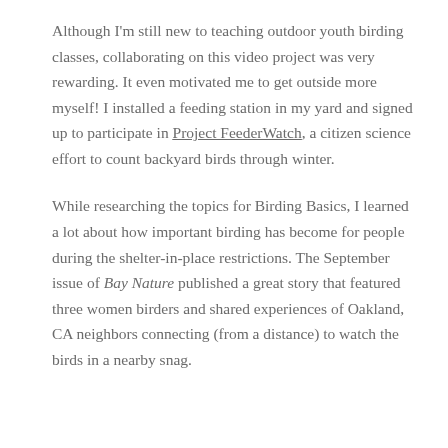Although I'm still new to teaching outdoor youth birding classes, collaborating on this video project was very rewarding. It even motivated me to get outside more myself! I installed a feeding station in my yard and signed up to participate in Project FeederWatch, a citizen science effort to count backyard birds through winter.
While researching the topics for Birding Basics, I learned a lot about how important birding has become for people during the shelter-in-place restrictions. The September issue of Bay Nature published a great story that featured three women birders and shared experiences of Oakland, CA neighbors connecting (from a distance) to watch the birds in a nearby snag.